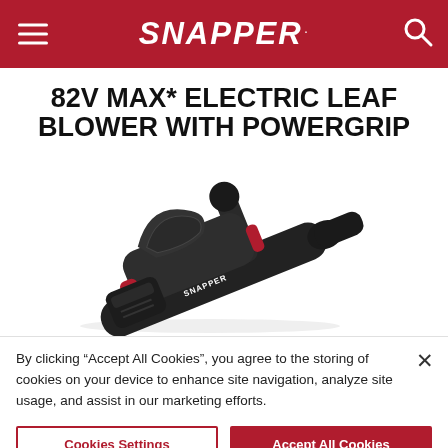SNAPPER
82V MAX* ELECTRIC LEAF BLOWER WITH POWERGRIP
[Figure (photo): Snapper 82V MAX electric leaf blower with PowerGrip — black body with red accents, angled view showing handle and blower tube on white background]
By clicking “Accept All Cookies”, you agree to the storing of cookies on your device to enhance site navigation, analyze site usage, and assist in our marketing efforts.
Cookies Settings | Accept All Cookies